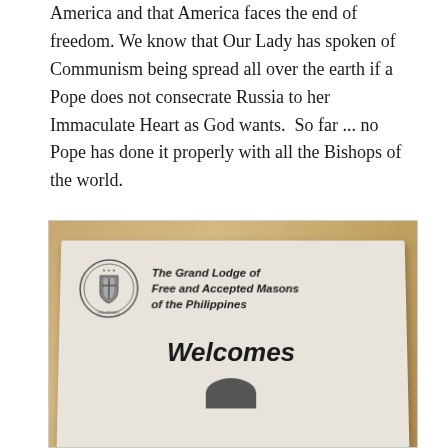America and that America faces the end of freedom. We know that Our Lady has spoken of Communism being spread all over the earth if a Pope does not consecrate Russia to her Immaculate Heart as God wants.  So far ... no Pope has done it properly with all the Bishops of the world.
[Figure (photo): A photograph of a newspaper or booklet from The Grand Lodge of Free and Accepted Masons of the Philippines, showing the text 'Welcomes' in bold italic, placed on a wooden floor background.]